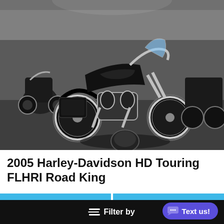[Figure (photo): Interior dealership photo of a 2005 Harley-Davidson HD Touring FLHRI Road King motorcycle, black with chrome details, surrounded by other motorcycles in a showroom with gray floor.]
2005 Harley-Davidson HD Touring FLHRI Road King
Purchase Options
Prequalify for Financing
Filter by
Text us!